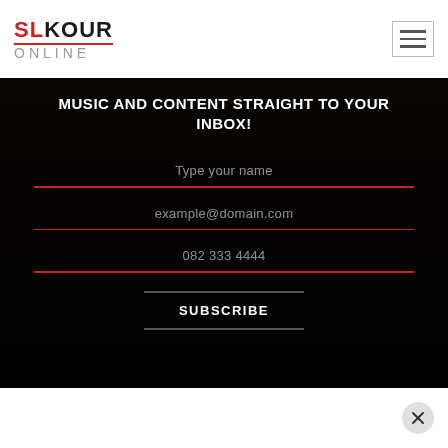[Figure (logo): SLKOUR ONLINE logo with red and black text, red underline, and grey ONLINE text below]
[Figure (other): Hamburger menu button (three horizontal lines) in a bordered box]
MUSIC AND CONTENT STRAIGHT TO YOUR INBOX!
Type your name
example@domain.com
082 333 4444
SUBSCRIBE
[Figure (other): Close/dismiss button — circle with X symbol, bottom right corner]